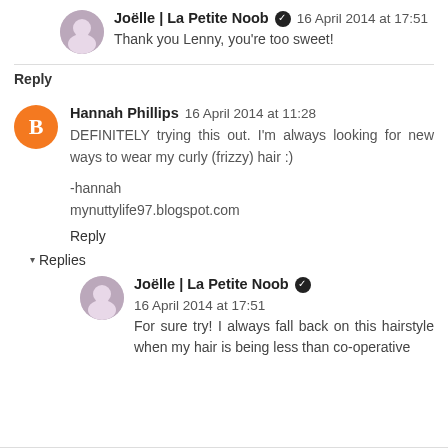Joëlle | La Petite Noob ✓  16 April 2014 at 17:51
Thank you Lenny, you're too sweet!
Reply
Hannah Phillips  16 April 2014 at 11:28
DEFINITELY trying this out. I'm always looking for new ways to wear my curly (frizzy) hair :)
-hannah
mynuttylife97.blogspot.com
Reply
▾ Replies
Joëlle | La Petite Noob ✓  16 April 2014 at 17:51
For sure try! I always fall back on this hairstyle when my hair is being less than co-operative